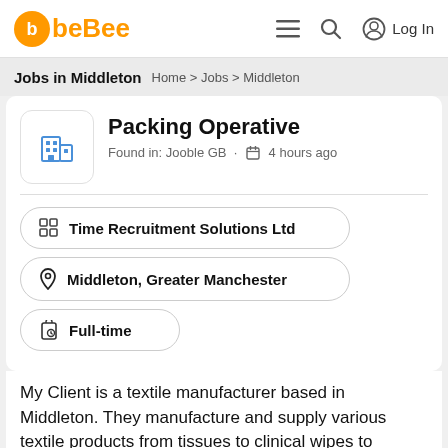beBee  ≡  🔍  Log In
Jobs in Middleton
Home > Jobs > Middleton
Packing Operative
Found in: Jooble GB · 4 hours ago
Time Recruitment Solutions Ltd
Middleton, Greater Manchester
Full-time
My Client is a textile manufacturer based in Middleton. They manufacture and supply various textile products from tissues to clinical wipes to